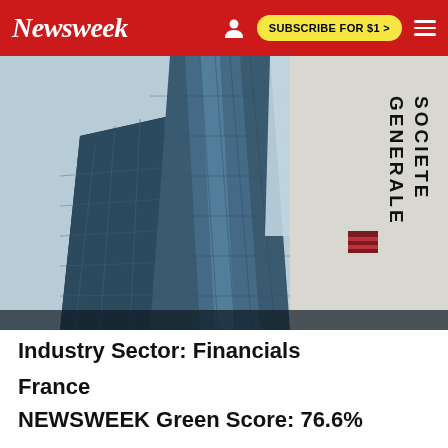Newsweek   SUBSCRIBE FOR $1 >
[Figure (photo): Upward-angled photograph of modern glass skyscrapers with a white building on the right showing the Societe Generale logo and text 'SOCIETE GENERALE' in black vertical lettering.]
Industry Sector: Financials
France
NEWSWEEK Green Score: 76.6%